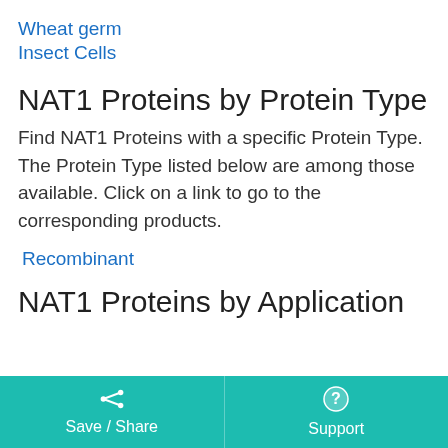Wheat germ
Insect Cells
NAT1 Proteins by Protein Type
Find NAT1 Proteins with a specific Protein Type. The Protein Type listed below are among those available. Click on a link to go to the corresponding products.
Recombinant
NAT1 Proteins by Application
Save / Share   Support